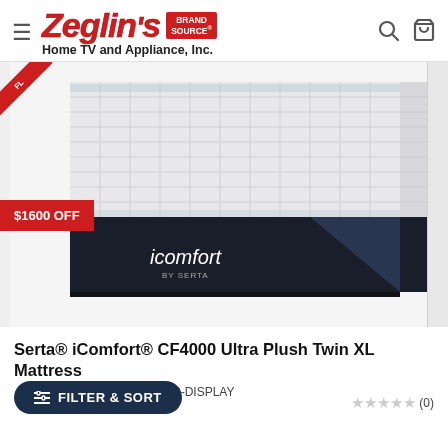Zeglin's Brand Source Home TV and Appliance, Inc.
[Figure (photo): Close-up photo of a Serta iComfort mattress corner showing the quilted white fabric top and dark navy/black border, with the iComfort by Serta logo on the side. A red discount badge shows $1600 OFF. A red ribbon tag is visible in the top-left corner.]
Serta® iComfort® CF4000 Ultra Plush Twin XL Mattress
1020-DISPLAY
(0)